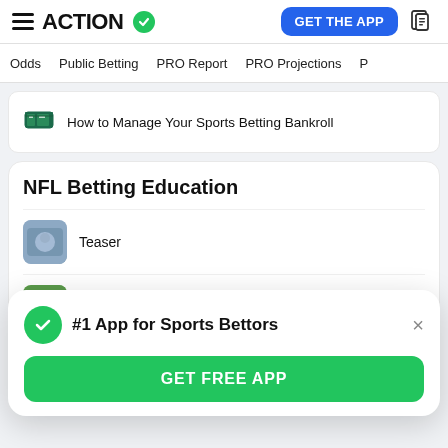ACTION (logo) — GET THE APP
Odds   Public Betting   PRO Report   PRO Projections
How to Manage Your Sports Betting Bankroll
NFL Betting Education
Teaser
Same Game Parlay
10 Tips for Betting the NFL
#1 App for Sports Bettors
GET FREE APP